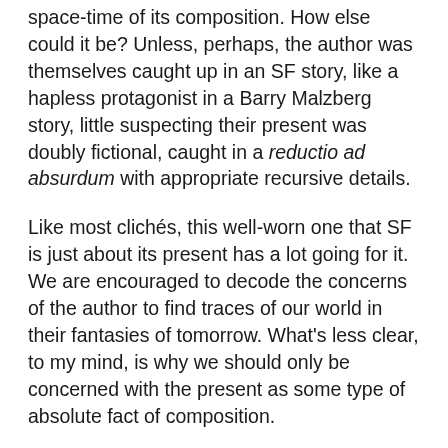space-time of its composition. How else could it be? Unless, perhaps, the author was themselves caught up in an SF story, like a hapless protagonist in a Barry Malzberg story, little suspecting their present was doubly fictional, caught in a reductio ad absurdum with appropriate recursive details.
Like most clichés, this well-worn one that SF is just about its present has a lot going for it. We are encouraged to decode the concerns of the author to find traces of our world in their fantasies of tomorrow. What's less clear, to my mind, is why we should only be concerned with the present as some type of absolute fact of composition.
Our present reality is a strange science fictional beast indeed. It recalls to me Karl Marx's belief that in capitalist societies the 'past dominates the present'. Marx's argument was that by virtue of the twin principles of social organisation in capitalism, the accumulation of wealth by way of the exploitation of wage labour, the past comes to dominate the